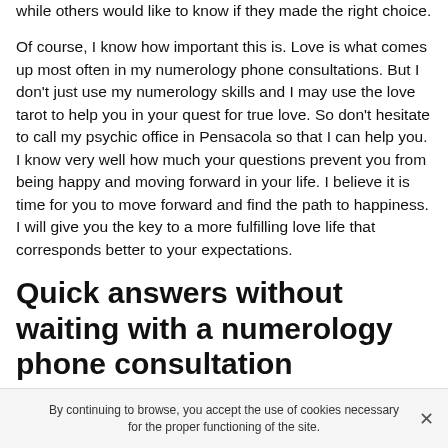while others would like to know if they made the right choice.
Of course, I know how important this is. Love is what comes up most often in my numerology phone consultations. But I don't just use my numerology skills and I may use the love tarot to help you in your quest for true love. So don't hesitate to call my psychic office in Pensacola so that I can help you. I know very well how much your questions prevent you from being happy and moving forward in your life. I believe it is time for you to move forward and find the path to happiness. I will give you the key to a more fulfilling love life that corresponds better to your expectations.
Quick answers without waiting with a numerology phone consultation
By continuing to browse, you accept the use of cookies necessary for the proper functioning of the site.